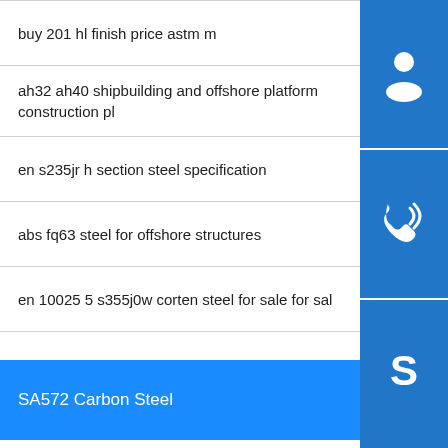buy 201 hl finish price astm m
ah32 ah40 shipbuilding and offshore platform construction pl
en s235jr h section steel specification
abs fq63 steel for offshore structures
en 10025 5 s355j0w corten steel for sale for sal
SA572 Carbon Steel
steel square tube 19x19 pre square pipe
q195 q235 345 50 50 4